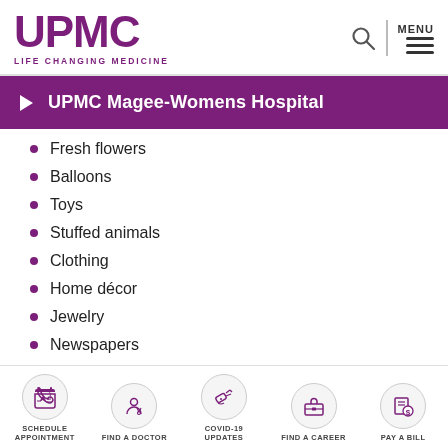[Figure (logo): UPMC logo with text LIFE CHANGING MEDICINE in purple]
UPMC Magee-Womens Hospital
Fresh flowers
Balloons
Toys
Stuffed animals
Clothing
Home décor
Jewelry
Newspapers
Magazines
SCHEDULE APPOINTMENT | FIND A DOCTOR | COVID-19 UPDATES | FIND A CAREER | PAY A BILL